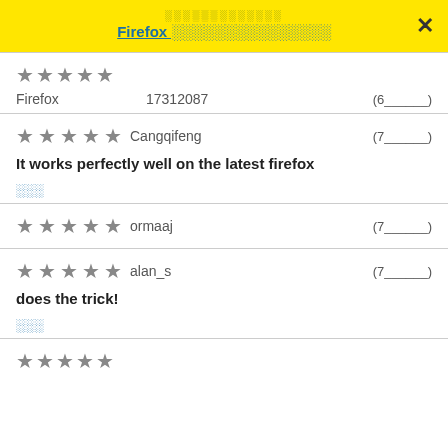░░░░░░░░░░░░░ Firefox ░░░░░░░░░░░░░░░
Firefox   17312087   (6_______)
★★★★★ Cangqifeng   (7_______)
It works perfectly well on the latest firefox
░░░
★★★★★ ormaaj   (7_______)
★★★★★ alan_s   (7_______)
does the trick!
░░░
★★★★★